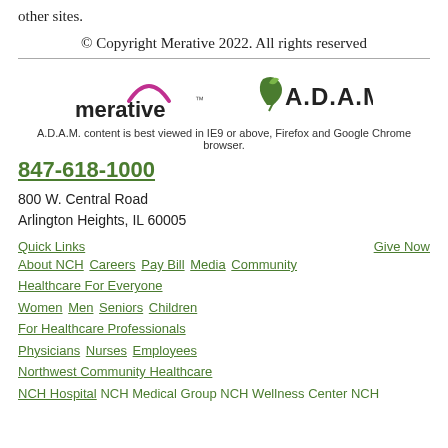other sites.
© Copyright Merative 2022. All rights reserved
[Figure (logo): Merative logo (stylized arc above 'merative' text) and A.D.A.M. logo (leaf icon with 'A.D.A.M.' text) side by side]
A.D.A.M. content is best viewed in IE9 or above, Firefox and Google Chrome browser.
847-618-1000
800 W. Central Road
Arlington Heights, IL 60005
Quick Links
Give Now
About NCH  Careers  Pay Bill  Media  Community
Healthcare For Everyone
Women  Men  Seniors  Children
For Healthcare Professionals
Physicians  Nurses  Employees
Northwest Community Healthcare
NCH Hospital  NCH Medical Group  NCH Wellness Center  NCH